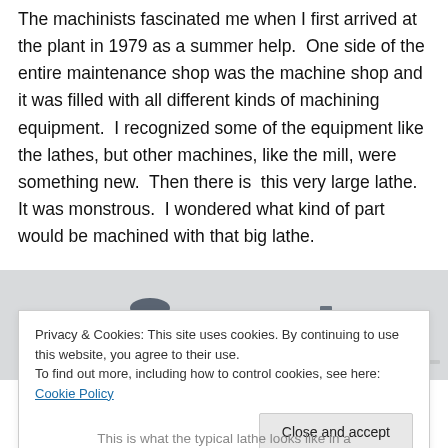The machinists fascinated me when I first arrived at the plant in 1979 as a summer help.  One side of the entire maintenance shop was the machine shop and it was filled with all different kinds of machining equipment.  I recognized some of the equipment like the lathes, but other machines, like the mill, were something new.  Then there is  this very large lathe.  It was monstrous.  I wondered what kind of part would be machined with that big lathe.
[Figure (photo): Photo of typical lathe machinery equipment, showing several lathe components/machines in a row against a light background.]
Privacy & Cookies: This site uses cookies. By continuing to use this website, you agree to their use.
To find out more, including how to control cookies, see here: Cookie Policy
This is what the typical lathe looks like in a